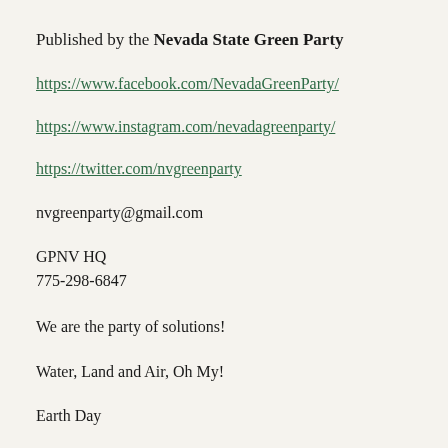Published by the Nevada State Green Party
https://www.facebook.com/NevadaGreenParty/
https://www.instagram.com/nevadagreenparty/
https://twitter.com/nvgreenparty
nvgreenparty@gmail.com
GPNV HQ
775-298-6847
We are the party of solutions!
Water, Land and Air, Oh My!
Earth Day